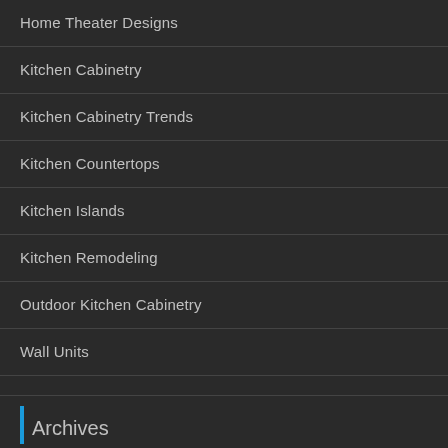Home Theater Designs
Kitchen Cabinetry
Kitchen Cabinetry Trends
Kitchen Countertops
Kitchen Islands
Kitchen Remodeling
Outdoor Kitchen Cabinetry
Wall Units
Archives